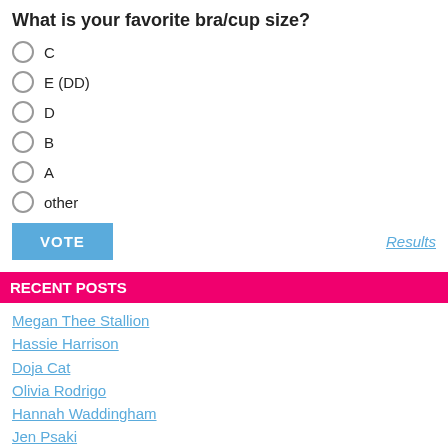What is your favorite bra/cup size?
C
E (DD)
D
B
A
other
VOTE   Results
RECENT POSTS
Megan Thee Stallion
Hassie Harrison
Doja Cat
Olivia Rodrigo
Hannah Waddingham
Jen Psaki
ABOUT US
We are adding new celebrities regularly, their measurements, bra sizes